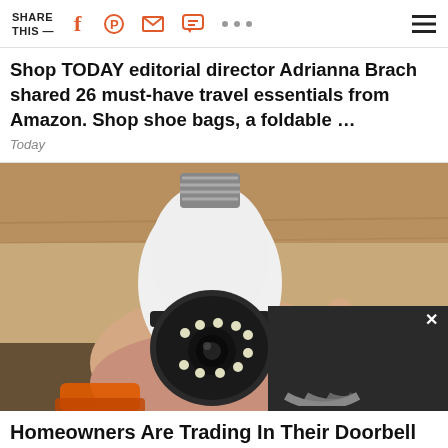SHARE THIS — [social icons: Facebook, Pinterest, Mail, Message, More, Menu]
Shop TODAY editorial director Adrianna Brach shared 26 must-have travel essentials from Amazon. Shop shoe bags, a foldable …
Today
[Figure (photo): A hand holding a white bulb-shaped security camera with LED ring, with a dark overlay widget showing concentric arcs (signal/wifi icon) with a close X button in the bottom right corner.]
Homeowners Are Trading In Their Doorbell Cams For This...